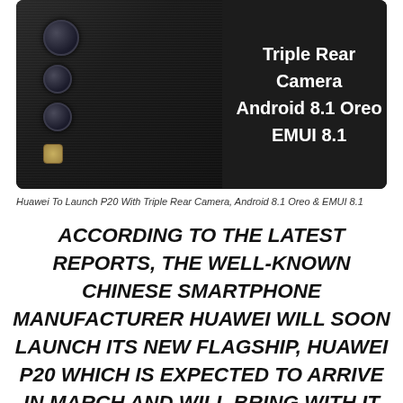[Figure (photo): Huawei P20 smartphone showing triple rear camera setup on left side, with text on dark right panel reading 'Triple Rear Camera Android 8.1 Oreo EMUI 8.1']
Huawei To Launch P20 With Triple Rear Camera, Android 8.1 Oreo & EMUI 8.1
ACCORDING TO THE LATEST REPORTS, THE WELL-KNOWN CHINESE SMARTPHONE MANUFACTURER HUAWEI WILL SOON LAUNCH ITS NEW FLAGSHIP, HUAWEI P20 WHICH IS EXPECTED TO ARRIVE IN MARCH AND WILL BRING WITH IT SOME INTERESTING NEW FEATURES LIKE A TRIPLE REAR CAMERA, ANDROID 8.1 OREO AND THE LATEST VERSION OF EMUI (EMUI 8.1).